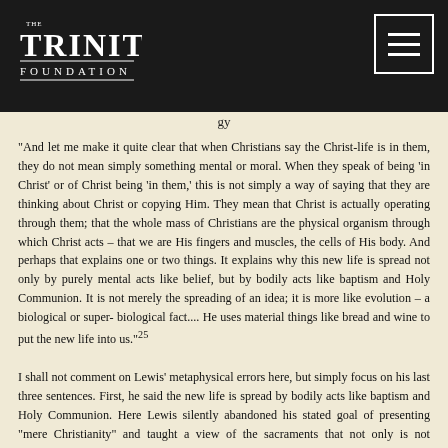[Figure (logo): The Trinity Foundation logo — white text on dark background]
gy
“And let me make it quite clear that when Christians say the Christ-life is in them, they do not mean simply something mental or moral. When they speak of being ‘in Christ’ or of Christ being ‘in them,’ this is not simply a way of saying that they are thinking about Christ or copying Him. They mean that Christ is actually operating through them; that the whole mass of Christians are the physical organism through which Christ acts – that we are His fingers and muscles, the cells of His body. And perhaps that explains one or two things. It explains why this new life is spread not only by purely mental acts like belief, but by bodily acts like baptism and Holy Communion. It is not merely the spreading of an idea; it is more like evolution – a biological or super- biological fact.... He uses material things like bread and wine to put the new life into us.”25
I shall not comment on Lewis’ metaphysical errors here, but simply focus on his last three sentences. First, he said the new life is spread by bodily acts like baptism and Holy Communion. Here Lewis silently abandoned his stated goal of presenting “mere Christianity” and taught a view of the sacraments that not only is not common to all professing Christian